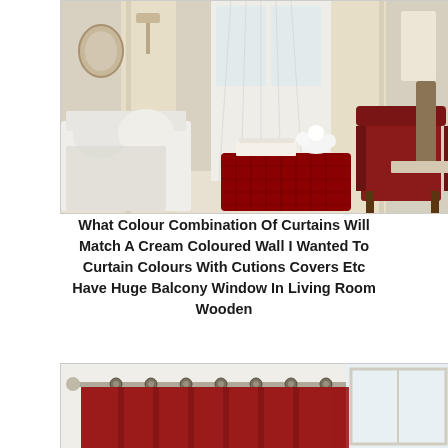[Figure (photo): Living room interior with cream/beige curtains, a white sofa with cushions, a dark red velvet armchair, a red ottoman/coffee table with flowers and books, decorative mirrors on the wall, and a large window with sheer white curtains.]
What Colour Combination Of Curtains Will Match A Cream Coloured Wall I Wanted To Curtain Colours With Cutions Covers Etc Have Huge Balcony Window In Living Room Wooden
[Figure (photo): Red curtains hung on a metal curtain rod with rings/grommets against a white wall with a window partially visible.]